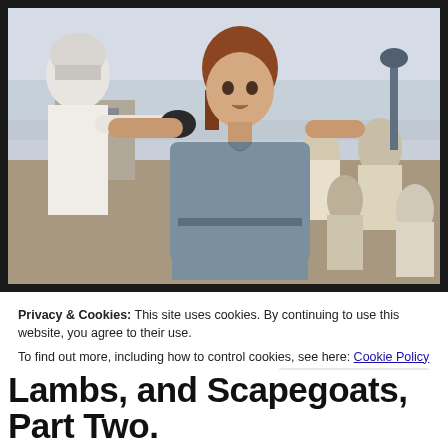[Figure (photo): A woman in a gray dress being held by a guard in white uniform and black gloves, crowd of people in background, outdoor scene reminiscent of The Hunger Games]
Privacy & Cookies: This site uses cookies. By continuing to use this website, you agree to their use.
To find out more, including how to control cookies, see here: Cookie Policy
Close and accept
Lambs, and Scapegoats, Part Two.